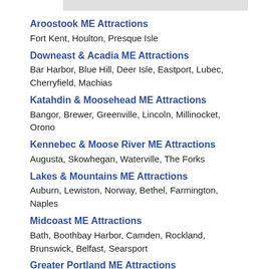Aroostook ME Attractions
Fort Kent, Houlton, Presque Isle
Downeast & Acadia ME Attractions
Bar Harbor, Blue Hill, Deer Isle, Eastport, Lubec, Cherryfield, Machias
Katahdin & Moosehead ME Attractions
Bangor, Brewer, Greenville, Lincoln, Millinocket, Orono
Kennebec & Moose River ME Attractions
Augusta, Skowhegan, Waterville, The Forks
Lakes & Mountains ME Attractions
Auburn, Lewiston, Norway, Bethel, Farmington, Naples
Midcoast ME Attractions
Bath, Boothbay Harbor, Camden, Rockland, Brunswick, Belfast, Searsport
Greater Portland ME Attractions